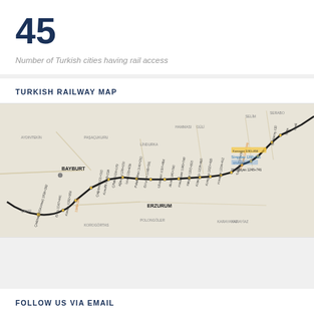45
Number of Turkish cities having rail access
TURKISH RAILWAY MAP
[Figure (map): Turkish Railway Map showing a railway line segment through eastern Turkey, passing through cities including Bayburt, Erzurum and other stations with kilometer markers. The route shows stations: Cadirkaya (Gozelek) 1034+332, Ertaş 1047+441, Karaçu 1062+363, Çağoşnç 1101+000, Konolfil 1109+228, Çifteki 1124+179, Ağaver 1128+000, İsca 1133+835, Palandöken 1140+200, Erzurum 1148+051, Uluteşnist 1167+684, Alvar 1180+760, Hasankare 1189+749, Yakşbat 1200+800, Köprüköy 1209+990, Konçuha 1220+428, Horasan 1234+412, Topdag 1277+06, Sarıkamış 130, Karasgan 1261+856, Süngütaşı 1260+585, 1257+797, Hüsrdäyes 1248+746]
FOLLOW US VIA EMAIL